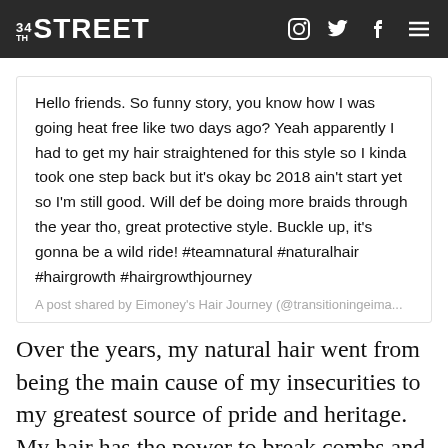34TH STREET
Hello friends. So funny story, you know how I was going heat free like two days ago? Yeah apparently I had to get my hair straightened for this style so I kinda took one step back but it's okay bc 2018 ain't start yet so I'm still good. Will def be doing more braids through the year tho, great protective style. Buckle up, it's gonna be a wild ride! #teamnatural #naturalhair #hairgrowth #hairgrowthjourney
A post shared by Eimoney's Hair Journey (@transitioningeima...
Over the years, my natural hair went from being the main cause of my insecurities to my greatest source of pride and heritage. My hair has the power to break combs and damage brushes, but its strength is not only limited to its ability to destroy objects. It